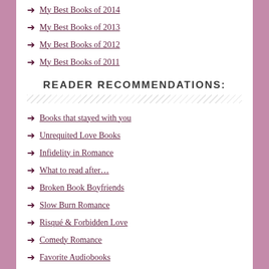My Best Books of 2014
My Best Books of 2013
My Best Books of 2012
My Best Books of 2011
READER RECOMMENDATIONS:
Books that stayed with you
Unrequited Love Books
Infidelity in Romance
What to read after…
Broken Book Boyfriends
Slow Burn Romance
Risqué & Forbidden Love
Comedy Romance
Favorite Audiobooks
Authors' Favorite Books
Readers' Top 2015 Favs
Readers' Top 2016 Favs
Readers' Top 2017 Favs